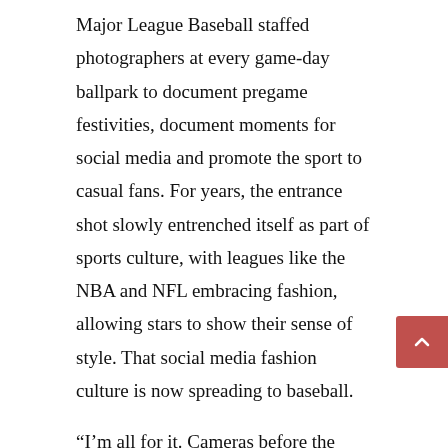Major League Baseball staffed photographers at every game-day ballpark to document pregame festivities, document moments for social media and promote the sport to casual fans. For years, the entrance shot slowly entrenched itself as part of sports culture, with leagues like the NBA and NFL embracing fashion, allowing stars to show their sense of style. That social media fashion culture is now spreading to baseball.
“I’m all for it. Cameras before the game catch our outfits and whatnot, our style,” Bader said. “Baseball’s tough. The camera’s focused on catchers and starting pitchers all the time. Fans don’t really get enough of our personality.”
The shift among player attitudes toward social media began as